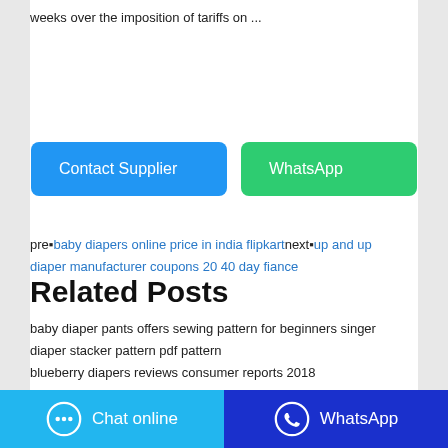weeks over the imposition of tariffs on ...
[Figure (other): Two buttons: 'Contact Supplier' (blue) and 'WhatsApp' (green)]
pre▪baby diapers online price in india flipkartnext▪up and up diaper manufacturer coupons 20 40 day fiance
Related Posts
baby diaper pants offers sewing pattern for beginners singer
diaper stacker pattern pdf pattern
blueberry diapers reviews consumer reports 2018
alva cloth diapers how to use paper pdf free template
[Figure (other): Bottom bar with 'Chat online' (light blue) and 'WhatsApp' (dark blue) buttons]